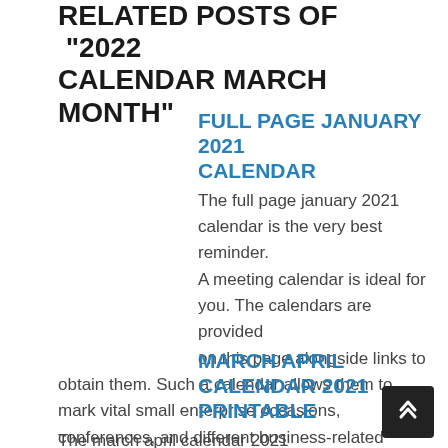RELATED POSTS OF "2022 CALENDAR MARCH MONTH"
FULL PAGE JANUARY 2021 CALENDAR
The full page january 2021 calendar is the very best reminder. A meeting calendar is ideal for you. The calendars are provided on this page alongside links to obtain them. Such a calendar allows them to mark vital small enterprise occasions, conferences, and different business-related pursuits. If you happen to're trying to find a extra...
MARCH APRIL CALENDAR 2021 PRINTABLE
The march april calendar 2021